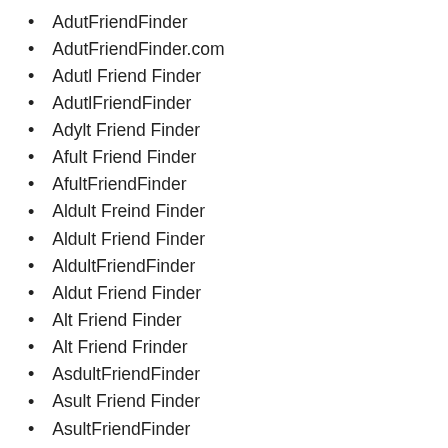AdutFriendFinder
AdutFriendFinder.com
Adutl Friend Finder
AdutlFriendFinder
Adylt Friend Finder
Afult Friend Finder
AfultFriendFinder
Aldult Freind Finder
Aldult Friend Finder
AldultFriendFinder
Aldut Friend Finder
Alt Friend Finder
Alt Friend Frinder
AsdultFriendFinder
Asult Friend Finder
AsultFriendFinder
AudAlt Friend Finder
Audlt Friend Finder
Audult Friend Finder